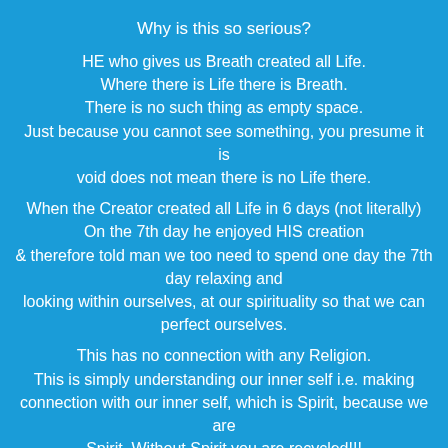Why is this so serious?
HE who gives us Breath created all Life. Where there is Life there is Breath. There is no such thing as empty space. Just because you cannot see something, you presume it is void does not mean there is no Life there.
When the Creator created all Life in 6 days (not literally) On the 7th day he enjoyed HIS creation & therefore told man we too need to spend one day the 7th day relaxing and looking within ourselves, at our spirituality so that we can perfect ourselves.
This has no connection with any Religion. This is simply understanding our inner self i.e. making connection with our inner self, which is Spirit, because we are Spirit. Without Spirit you are recycled!!!
Because the Creator of Space and our HE is A...l...l...